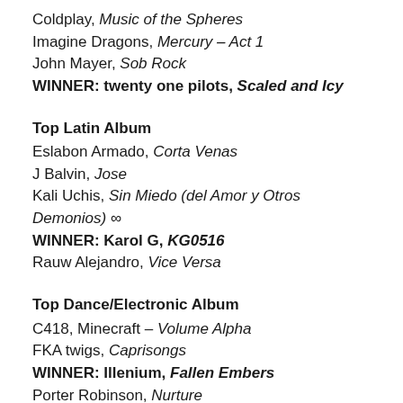Coldplay, Music of the Spheres
Imagine Dragons, Mercury – Act 1
John Mayer, Sob Rock
WINNER: twenty one pilots, Scaled and Icy
Top Latin Album
Eslabon Armado, Corta Venas
J Balvin, Jose
Kali Uchis, Sin Miedo (del Amor y Otros Demonios) ∞
WINNER: Karol G, KG0516
Rauw Alejandro, Vice Versa
Top Dance/Electronic Album
C418, Minecraft – Volume Alpha
FKA twigs, Caprisongs
WINNER: Illenium, Fallen Embers
Porter Robinson, Nurture